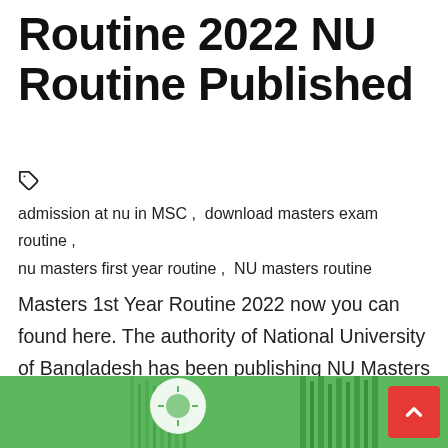Routine 2022 NU Routine Published
admission at nu in MSC , download masters exam routine , nu masters first year routine , NU masters routine
Masters 1st Year Routine 2022 now you can found here. The authority of National University of Bangladesh has been publishing NU Masters 1st Part Professional course exam routine also available here. You can also find out your routine and result from our site.
[Figure (photo): Green banner image showing National University of Bangladesh logo and campus building]